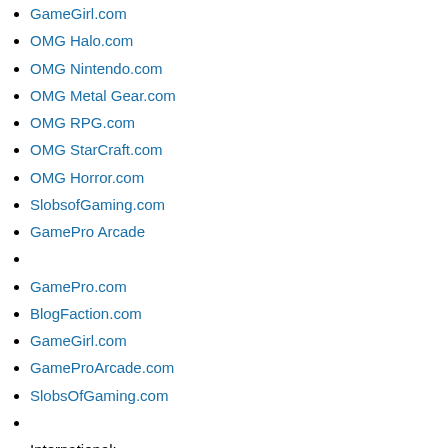GameGirl.com
OMG Halo.com
OMG Nintendo.com
OMG Metal Gear.com
OMG RPG.com
OMG StarCraft.com
OMG Horror.com
SlobsofGaming.com
GamePro Arcade
GamePro.com
BlogFaction.com
GameGirl.com
GameProArcade.com
SlobsOfGaming.com
International:
GameStar.de(Germany)
GamePro.de (Germany)
GamePro.fr (France)
GameStar.hu (Hungary)
Gamez.nl (Netherlands)
GamepProTV.com (Spain)
GameStar.it (Italy)